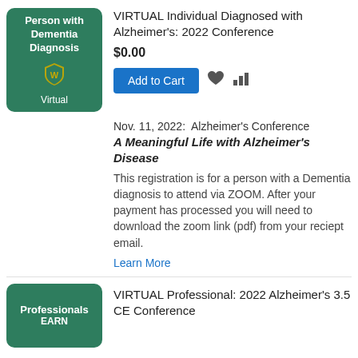[Figure (illustration): Green rounded square badge showing 'Person with Dementia Diagnosis' text with Wayne State University shield logo and 'Virtual' label]
VIRTUAL Individual Diagnosed with Alzheimer's: 2022 Conference
$0.00
Add to Cart
Nov. 11, 2022:  Alzheimer's Conference A Meaningful Life with Alzheimer's Disease
This registration is for a person with a Dementia diagnosis to attend via ZOOM. After your payment has processed you will need to download the zoom link (pdf) from your reciept email.
Learn More
[Figure (illustration): Green rounded square badge showing 'Professionals EARN' text]
VIRTUAL Professional: 2022 Alzheimer's 3.5 CE Conference